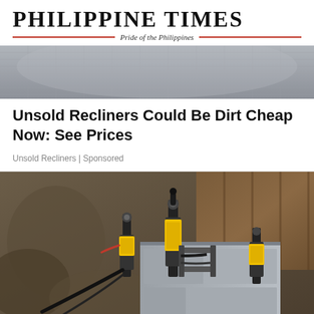Philippine Times — Pride of the Philippines
[Figure (photo): Close-up photo of a grey fabric recliner chair armrest]
Unsold Recliners Could Be Dirt Cheap Now: See Prices
Unsold Recliners | Sponsored
[Figure (photo): Construction photo showing hydraulic jacks with yellow and black components attached to a concrete foundation wall, with excavated dirt and cables visible]